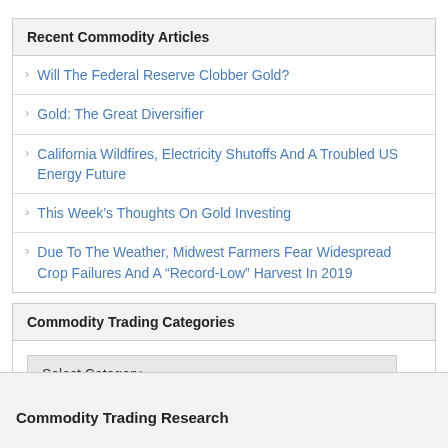Recent Commodity Articles
Will The Federal Reserve Clobber Gold?
Gold: The Great Diversifier
California Wildfires, Electricity Shutoffs And A Troubled US Energy Future
This Week's Thoughts On Gold Investing
Due To The Weather, Midwest Farmers Fear Widespread Crop Failures And A “Record-Low” Harvest In 2019
Commodity Trading Categories
Select Category
Commodity Trading Research